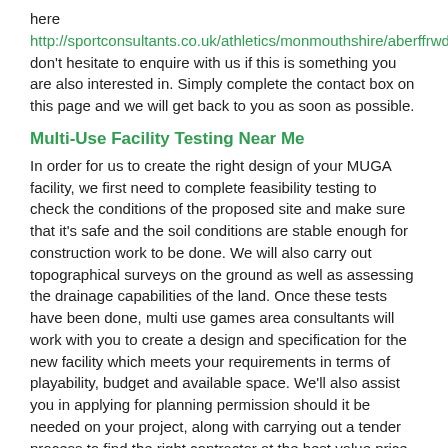here http://sportconsultants.co.uk/athletics/monmouthshire/aberffrwd/ don't hesitate to enquire with us if this is something you are also interested in. Simply complete the contact box on this page and we will get back to you as soon as possible.
Multi-Use Facility Testing Near Me
In order for us to create the right design of your MUGA facility, we first need to complete feasibility testing to check the conditions of the proposed site and make sure that it's safe and the soil conditions are stable enough for construction work to be done. We will also carry out topographical surveys on the ground as well as assessing the drainage capabilities of the land. Once these tests have been done, multi use games area consultants will work with you to create a design and specification for the new facility which meets your requirements in terms of playability, budget and available space. We'll also assist you in applying for planning permission should it be needed on your project, along with carrying out a tender process to find the right contractor at the best value price.
Multipurpose Sports Court Consultancy